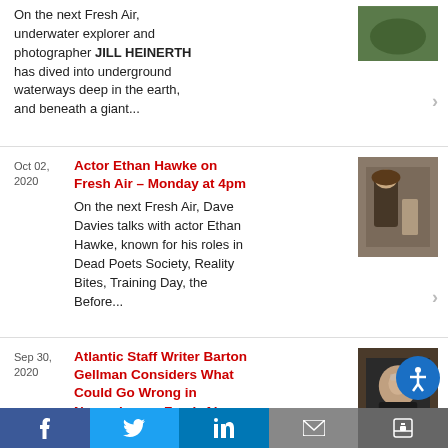On the next Fresh Air, underwater explorer and photographer JILL HEINERTH has dived into underground waterways deep in the earth, and beneath a giant...
Oct 02, 2020 — Actor Ethan Hawke on Fresh Air – Monday at 4pm. On the next Fresh Air, Dave Davies talks with actor Ethan Hawke, known for his roles in Dead Poets Society, Reality Bites, Training Day, the Before...
Sep 30, 2020 — Atlantic Staff Writer Barton Gellman Considers What Could Go Wrong in November on Fresh Air – Thursday at 4pm. On the next Fresh Air, the
f  Twitter  in  Email  Share